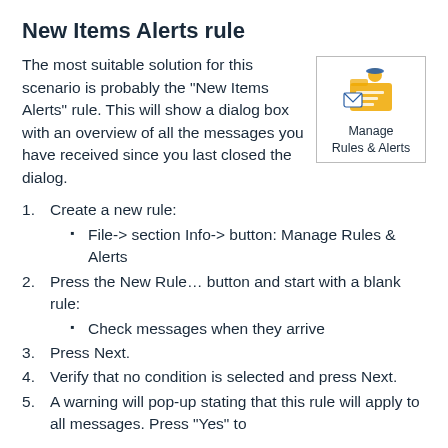New Items Alerts rule
The most suitable solution for this scenario is probably the “New Items Alerts” rule. This will show a dialog box with an overview of all the messages you have received since you last closed the dialog.
[Figure (illustration): Icon showing Manage Rules & Alerts button with a person and folder image]
1. Create a new rule:
File-> section Info-> button: Manage Rules & Alerts
2. Press the New Rule… button and start with a blank rule:
Check messages when they arrive
3. Press Next.
4. Verify that no condition is selected and press Next.
5. A warning will pop-up stating that this rule will apply to all messages. Press "Yes" to